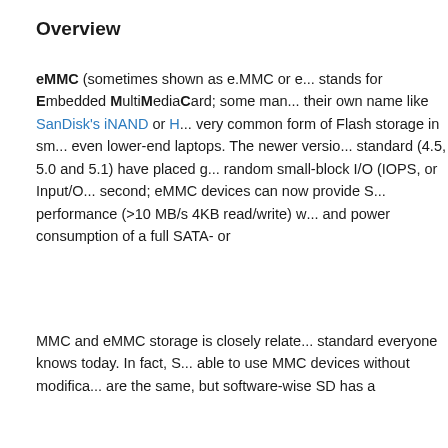Overview
eMMC (sometimes shown as e.MMC or e.MMC) stands for Embedded MultiMediaCard; some manufacturers use their own name like SanDisk's iNAND or H... [truncated] very common form of Flash storage in sm... even lower-end laptops. The newer version... standard (4.5, 5.0 and 5.1) have placed g... random small-block I/O (IOPS, or Input/O... second; eMMC devices can now provide S... performance (>10 MB/s 4KB read/write) w... and power consumption of a full SATA- or...
MMC and eMMC storage is closely relate... standard everyone knows today. In fact, S... able to use MMC devices without modifica... are the same, but software-wise SD has a...